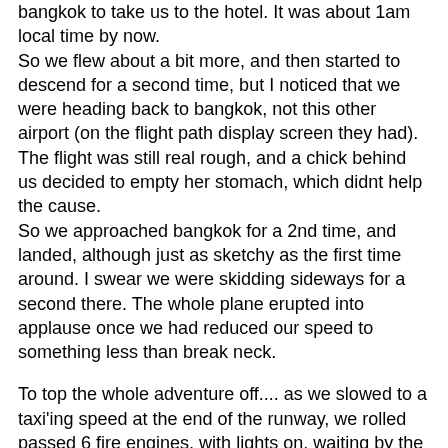bangkok to take us to the hotel. It was about 1am local time by now.
So we flew about a bit more, and then started to descend for a second time, but I noticed that we were heading back to bangkok, not this other airport (on the flight path display screen they had). The flight was still real rough, and a chick behind us decided to empty her stomach, which didnt help the cause.
So we approached bangkok for a 2nd time, and landed, although just as sketchy as the first time around. I swear we were skidding sideways for a second there. The whole plane erupted into applause once we had reduced our speed to something less than break neck.

To top the whole adventure off.... as we slowed to a taxi'ing speed at the end of the runway, we rolled passed 6 fire engines, with lights on, waiting by the runway..."just in case".

Got off the plane, kissed the ground, went through customs (customs? haha... more like 1 guy at a desk not wanting to